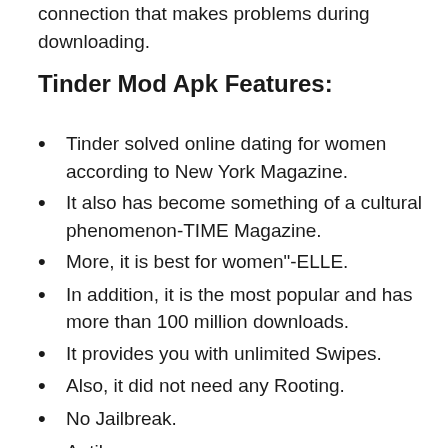connection that makes problems during downloading.
Tinder Mod Apk Features:
Tinder solved online dating for women according to New York Magazine.
It also has become something of a cultural phenomenon-TIME Magazine.
More, it is best for women"-ELLE.
In addition, it is the most popular and has more than 100 million downloads.
It provides you with unlimited Swipes.
Also, it did not need any Rooting.
No Jailbreak.
Antiban.
It also has an unlocked Mod.